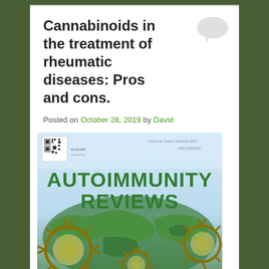Cannabinoids in the treatment of rheumatic diseases: Pros and cons.
Posted on October 28, 2019 by David
[Figure (photo): Cover of Autoimmunity Reviews journal showing the journal title in large green bold text on a light blue background with a world map and circular virus/cell illustrations in green and gold tones. A small QR code and Elsevier logo appear in the upper left corner.]